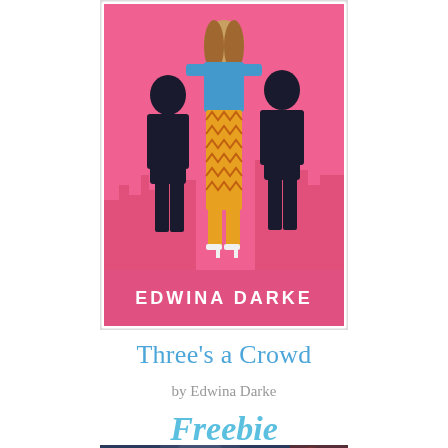[Figure (illustration): Book cover for 'Three's a Crowd' by Edwina Darke. Pink background with NYC skyline silhouette. Central figure is a woman in a blue top and orange patterned pants. Two male silhouettes flank her. Author name 'EDWINA DARKE' in white bold text at bottom of cover.]
Three's a Crowd
by Edwina Darke
Freebie
[Figure (photo): Partial photo of a person, dark and blurry, showing face/upper body, with dark blue/teal tones.]